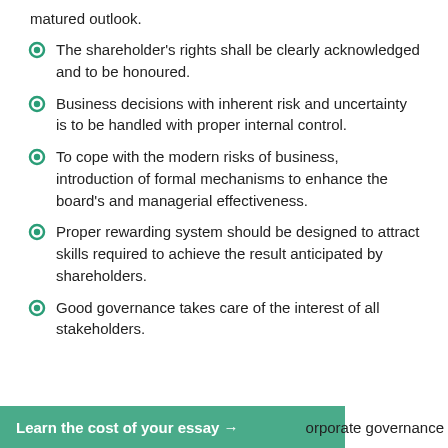matured outlook.
The shareholder's rights shall be clearly acknowledged and to be honoured.
Business decisions with inherent risk and uncertainty is to be handled with proper internal control.
To cope with the modern risks of business, introduction of formal mechanisms to enhance the board's and managerial effectiveness.
Proper rewarding system should be designed to attract skills required to achieve the result anticipated by shareholders.
Good governance takes care of the interest of all stakeholders.
Learn the cost of your essay →
orporate governance